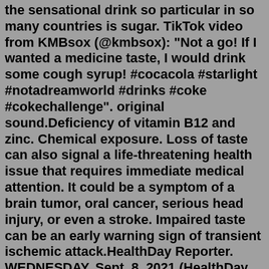the sensational drink so particular in so many countries is sugar. TikTok video from KMBsox (@kmbsox): "Not a go! If I wanted a medicine taste, I would drink some cough syrup! #cocacola #starlight #notadreamworld #drinks #coke #cokechallenge". original sound.Deficiency of vitamin B12 and zinc. Chemical exposure. Loss of taste can also signal a life-threatening health issue that requires immediate medical attention. It could be a symptom of a brain tumor, oral cancer, serious head injury, or even a stroke. Impaired taste can be an early warning sign of transient ischemic attack.HealthDay Reporter. WEDNESDAY, Sept. 8, 2021 (HealthDay News) -- A lost or altered sense of taste, dry mouth and sores are common among COVID-19 patients and those symptoms may last long after ...Aug 02, 2017 · Zero Sugar is crafted to taste like 'Full Fat Coke', whereas Diet Coke is. Diet Coke . Introduced 1982 7.5 OZ. 2010 0 calories per can enjoy 2011 Women's heart health program man holding flag 2011 Large Vertical logo 2012 The Heart Truth 2013 Show Your Heart .